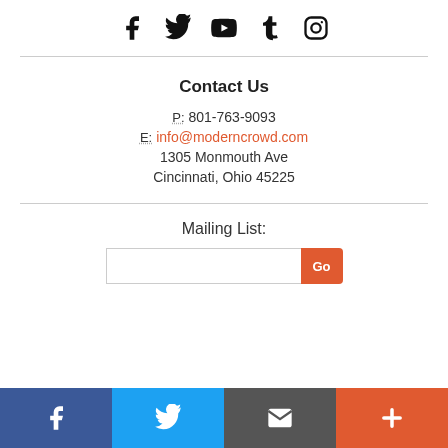[Figure (illustration): Row of five social media icons: Facebook, Twitter, YouTube, Tumblr, Instagram]
Contact Us
P: 801-763-9093
E: info@moderncrowd.com
1305 Monmouth Ave
Cincinnati, Ohio 45225
Mailing List:
[Figure (screenshot): Email input field with Go button]
[Figure (illustration): Bottom bar with four colored social/action icons: Facebook (blue), Twitter (light blue), Email/envelope (dark grey), Plus (orange-red)]